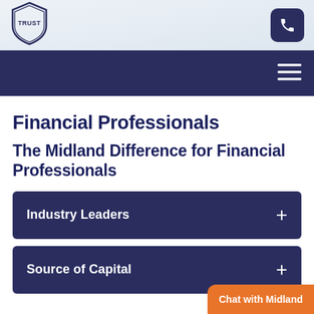[Figure (logo): Midland Trust shield logo in top-left header area]
[Figure (screenshot): Phone/call icon button on dark navy background in top-right header]
[Figure (screenshot): Hamburger menu icon (three horizontal white lines) on dark navy navigation bar]
Financial Professionals
The Midland Difference for Financial Professionals
Industry Leaders
Source of Capital
Chat with Midland